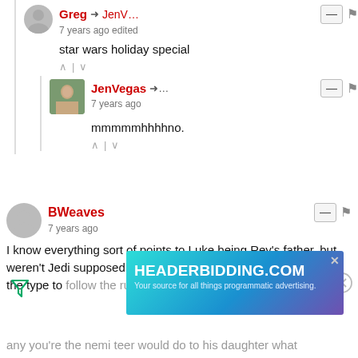Greg → JenV... 7 years ago edited
star wars holiday special
JenVegas →... 7 years ago
mmmmmhhhhno.
BWeaves 7 years ago
I know everything sort of points to Luke being Rey's father, but weren't Jedi supposed to eschew women? Luke seems more of the type to follow the rules than Anakin did. Plu
[Figure (other): Advertisement banner for HEADERBIDDING.COM - Your source for all things programmatic advertising.]
any you're the nemi teer would do to his daughter what